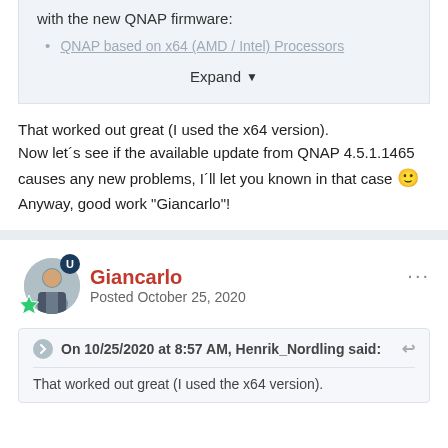with the new QNAP firmware:
QNAP based on x64 (AMD / Intel) Processors
Expand
That worked out great (I used the x64 version). Now let´s see if the available update from QNAP 4.5.1.1465 causes any new problems, I´ll let you known in that case 🙂 Anyway, good work "Giancarlo"!
Giancarlo
Posted October 25, 2020
On 10/25/2020 at 8:57 AM, Henrik_Nordling said:
That worked out great (I used the x64 version).